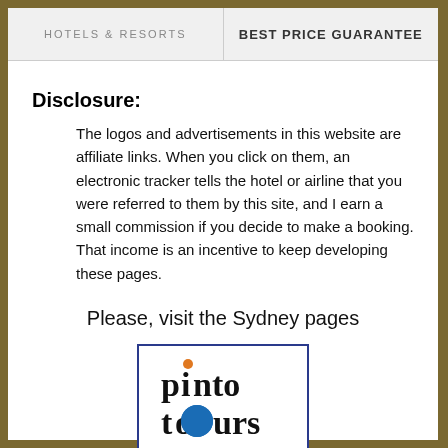HOTELS & RESORTS | BEST PRICE GUARANTEE
Disclosure:
The logos and advertisements in this website are affiliate links. When you click on them, an electronic tracker tells the hotel or airline that you were referred to them by this site, and I earn a small commission if you decide to make a booking. That income is an incentive to keep developing these pages.
Please, visit the Sydney pages
[Figure (logo): Pinto Tours logo — text 'pinto tours' with a blue circle replacing the 'o' in tours and an orange dot above the 'i' in pinto, inside a blue-bordered rectangle]